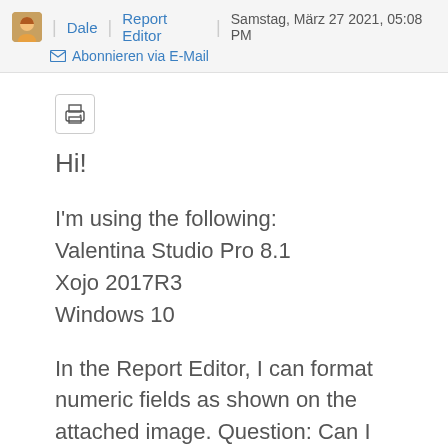Dale | Report Editor | Samstag, März 27 2021, 05:08 PM
Abonnieren via E-Mail
[Figure (other): Print button icon (printer symbol inside a bordered square button)]
Hi!
I'm using the following:
Valentina Studio Pro 8.1
Xojo 2017R3
Windows 10
In the Report Editor, I can format numeric fields as shown on the attached image. Question: Can I change the format at runtime from Xojo? I am developing a web-